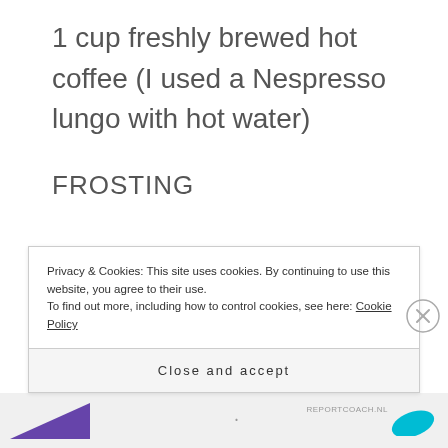1 cup freshly brewed hot coffee (I used a Nespresso lungo with hot water)
FROSTING
Privacy & Cookies: This site uses cookies. By continuing to use this website, you agree to their use.
To find out more, including how to control cookies, see here: Cookie Policy
Close and accept